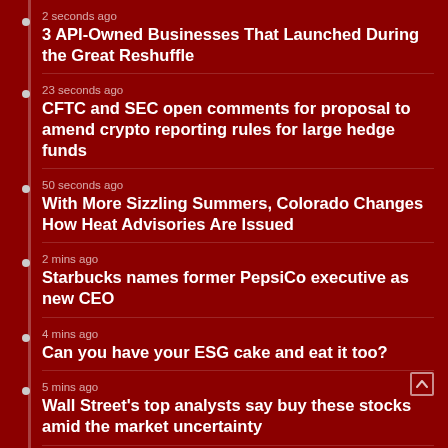2 seconds ago
3 API-Owned Businesses That Launched During the Great Reshuffle
23 seconds ago
CFTC and SEC open comments for proposal to amend crypto reporting rules for large hedge funds
50 seconds ago
With More Sizzling Summers, Colorado Changes How Heat Advisories Are Issued
2 mins ago
Starbucks names former PepsiCo executive as new CEO
4 mins ago
Can you have your ESG cake and eat it too?
5 mins ago
Wall Street's top analysts say buy these stocks amid the market uncertainty
6 mins ago
Quantum magnet is billions of times colder than interstellar space